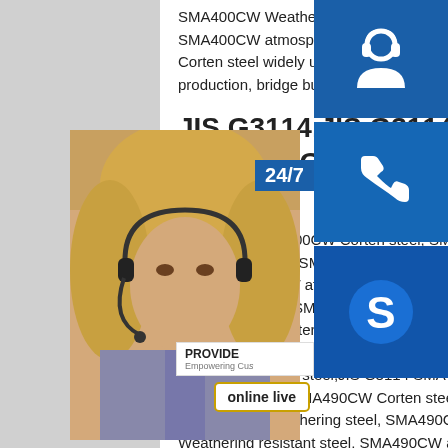SMA400CW Weathering steel, SMA400CW Weathering resistant steel, SMA400CW atmosphere corrosion resistance steel. JIS G3114 SMA400CW Corten steel widely used in air preheater, economizer, railway carriage, containers production, bridge building ,
JIS G3114,JIS G3114 corten steel,JIS G3114 SMA400CW Corten
JIS G3114 SMA400CW Corten steel, SMA400CW Weathering steel, SMA400CW Weathering resistant steel, SMA400CW atmosphere corrosion resistance steel. JIS G3114 SMA400CW Corten steel widely used in air preheater, economizer, railway carriage, containers production, bridge building , JIS G3114,JIS G3114 steel,JIS G3114 SMA490CW steel plate JIS G3114 SMA490CW Corten steel, SMA490CW Weathering steel, SMA490CW Weathering resistant steel, SMA490CW atmosphere corrosion resistance steel. JIS G3114 SMA490CW Corten steel widely used in air preheater,
[Figure (photo): Customer service representative woman with headset, alongside blue icon panels showing headset icon, phone icon, and Skype icon. A 24/7 label, PROVIDE panel, and online live button overlay the image.]